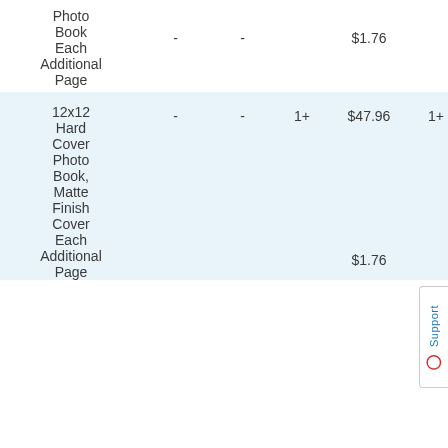| Product |  |  |  | Price |  | Price |
| --- | --- | --- | --- | --- | --- | --- |
| Photo Book Each Additional Page | - | - |  | $1.76 |  | $1.76 |
| 12x12 Hard Cover Photo Book, Matte Finish Cover Each Additional Page | - | - | 1+ | $47.96 $1.76 | 1+ | $47.96 $1.76 |